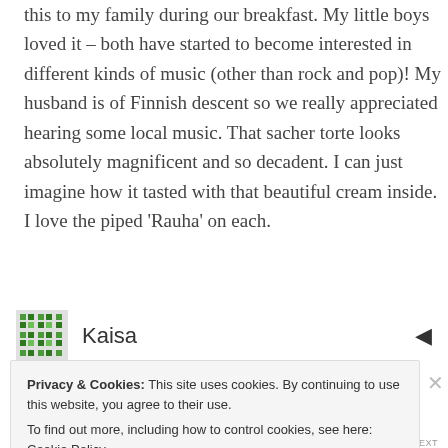this to my family during our breakfast. My little boys loved it – both have started to become interested in different kinds of music (other than rock and pop)! My husband is of Finnish descent so we really appreciated hearing some local music. That sacher torte looks absolutely magnificent and so decadent. I can just imagine how it tasted with that beautiful cream inside. I love the piped 'Rauha' on each.
Kaisa
OCTOBER 25, 2013 AT 9:11 PM
Privacy & Cookies: This site uses cookies. By continuing to use this website, you agree to their use.
To find out more, including how to control cookies, see here: Cookie Policy
Close and accept